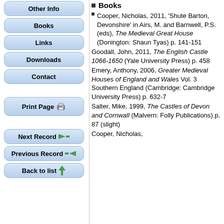Other Info
Books
Links
Downloads
Contact
Print Page
Next Record
Previous Record
Back to list
Books
Cooper, Nicholas, 2011, 'Shute Barton, Devonshire' in Airs, M. and Barnwell, P.S. (eds), The Medieval Great House (Donington: Shaun Tyas) p. 141-151
Goodall, John, 2011, The English Castle 1066-1650 (Yale University Press) p. 458
Emery, Anthony, 2006, Greater Medieval Houses of England and Wales Vol. 3 Southern England (Cambridge: Cambridge University Press) p. 632-7
Salter, Mike, 1999, The Castles of Devon and Cornwall (Malvern: Folly Publications) p. 87 (slight)
Cooper, Nicholas,